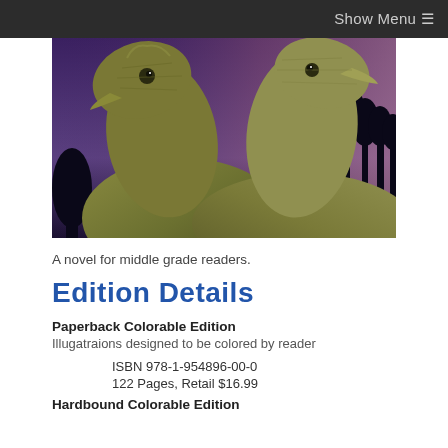Show Menu ≡
[Figure (photo): Two dinosaurs (hadrosaur-type) with textured scaly skin in close-up, set against a purple-blue twilight sky with silhouetted trees in the background.]
A novel for middle grade readers.
Edition Details
Paperback Colorable Edition
Illugatraions designed to be colored by reader
ISBN 978-1-954896-00-0
122 Pages, Retail $16.99
Hardbound Colorable Edition